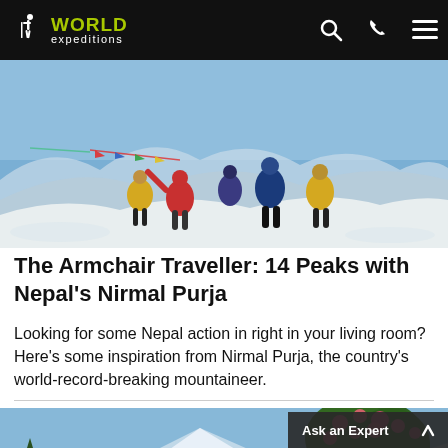World Expeditions
[Figure (photo): Group of mountaineers in yellow and red jackets on a snowy mountain summit with prayer flags and mountain range in background]
The Armchair Traveller: 14 Peaks with Nepal’s Nirmal Purja
Looking for some Nepal action in right in your living room? Here’s some inspiration from Nirmal Purja, the country’s world-record-breaking mountaineer.
[Figure (photo): Mountain landscape with pine tree on left, flowering rhododendron tree on right, snow-capped peaks in background]